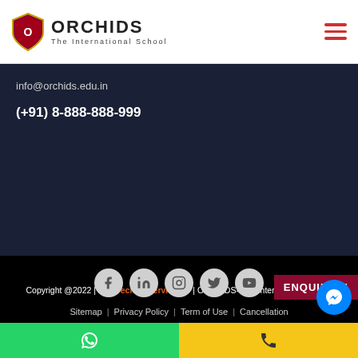[Figure (logo): Orchids The International School logo with shield emblem and hamburger menu icon]
info@orchids.edu.in
(+91) 8-888-888-999
Copyright @2022 | K12 Techno Services ® | ORCHIDS- The International School
[Figure (infographic): Social media icons: Facebook, LinkedIn, Instagram, Twitter, YouTube]
Sitemap  |  Privacy Policy  |  Term of Use  |  Cancellation